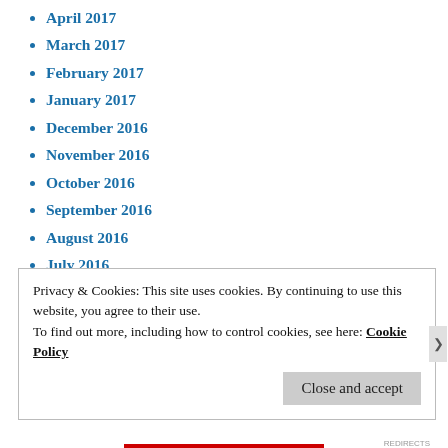April 2017
March 2017
February 2017
January 2017
December 2016
November 2016
October 2016
September 2016
August 2016
July 2016
June 2016
May 2016
RECENT POSTS
Privacy & Cookies: This site uses cookies. By continuing to use this website, you agree to their use.
To find out more, including how to control cookies, see here: Cookie Policy